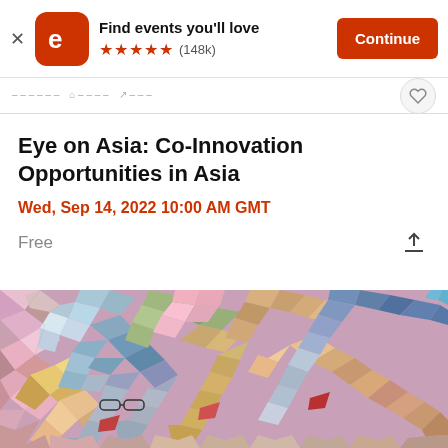[Figure (screenshot): Eventbrite app banner with logo, 'Find events you'll love' text, 5-star rating (148k), and Continue button]
Eye on Asia: Co-Innovation Opportunities in Asia
Wed, Sep 14, 2022 10:00 AM GMT
Free
[Figure (illustration): Colorful mosaic-style illustration of diverse people celebrating/laughing together]